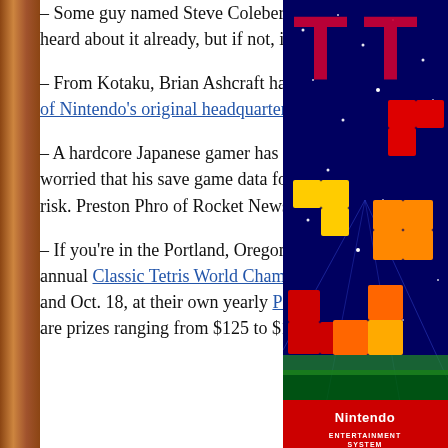– Some guy named Steve Colebert had the Zelda orchestra on. You've probably heard about it already, but if not, it's totally on Youtube.
– From Kotaku, Brian Ashcraft has a re-post of a popular old post that has a tour of Nintendo's original headquarters in Japan.
– A hardcore Japanese gamer has kept his SNES on for 20 years because he's worried that his save game data for obscure game Umihara Kawase might be at-risk. Preston Phro of Rocket News 24 has a good write-up here.
– If you're in the Portland, Oregon area, then you still have time to check out the annual Classic Tetris World Championship! It takes place this weekend, Oct. 17 and Oct. 18, at their own yearly Po... are prizes ranging from $125 to $1,000 for top-four finishes.
[Figure (photo): Nintendo Entertainment System (NES) box art showing the Tetris game with colorful falling blocks in red, orange, yellow against a dark blue starfield background, with the Nintendo logo at the bottom.]